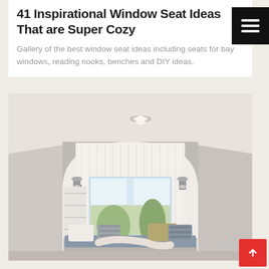41 Inspirational Window Seat Ideas That are Super Cozy
Gallery of the best window seat ideas including seats for bay windows, reading nooks, benches and DIY ideas.
[Figure (photo): Interior photo of a cozy window seat nook under an arched/vaulted ceiling with white shiplap walls, built-in shelving, two wall sconce lights, a large window with garden view, and cushioned bench seat with pillows in grey, blue stripes, and yellow.]